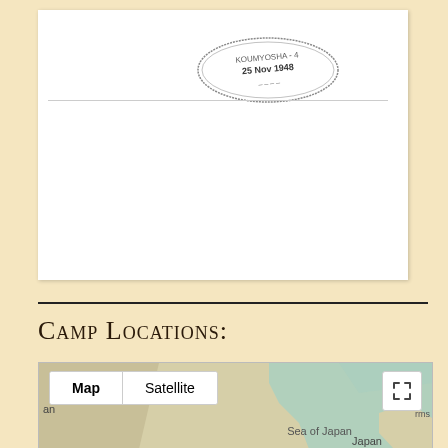[Figure (photo): Scanned document page with an oval stamp/seal visible near the top center. The stamp appears to read date information including '1948'. The rest of the document is largely blank white space.]
Camp Locations:
[Figure (map): Google Maps interface showing a map of East Asia including Sea of Japan and Japan. Controls show Map and Satellite buttons at top left, and a fullscreen button at top right.]